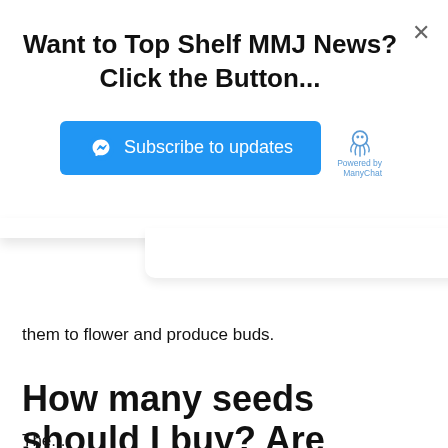Want to Top Shelf MMJ News? Click the Button...
[Figure (screenshot): Blue Subscribe to updates button with Messenger icon, and ManyChat powered-by badge]
them to flower and produce buds.
How many seeds should I buy? Are they all going to survive?
The...